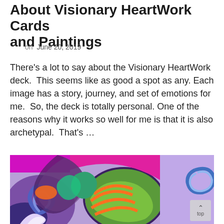About Visionary HeartWork Cards and Paintings
on June 20, 2019
There’s a lot to say about the Visionary HeartWork deck.  This seems like as good a spot as any. Each image has a story, journey, and set of emotions for me.  So, the deck is totally personal. One of the reasons why it works so well for me is that it is also archetypal.  That’s …
[Figure (illustration): Colorful abstract visionary painting with swirling shapes in purple, green, orange, pink, and blue tones. Features organic forms, swirls, and bold outlines on a purple background.]